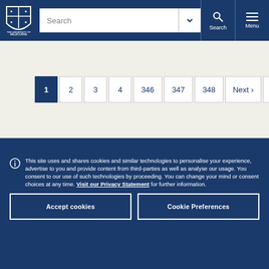University of Melbourne navigation bar with search
Pagination: 1 (active), 2, 3, 4, 346, 347, 348, Next ›, Last »
This site uses and shares cookies and similar technologies to personalise your experience, advertise to you and provide content from third-parties as well as analyse our usage. You consent to our use of such technologies by proceeding. You can change your mind or consent choices at any time. Visit our Privacy Statement for further information.
Accept cookies | Cookie Preferences